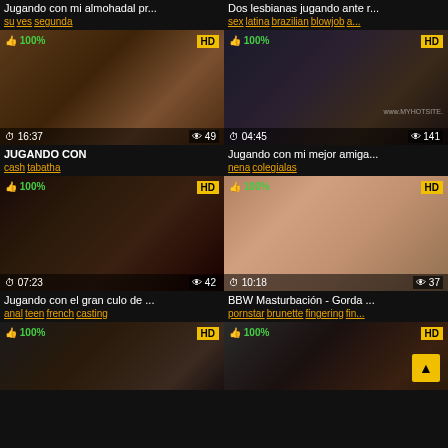Jugando con mi almohadal pr...
su ves segunda
Dos lesbianas jugando ante r...
sex latina brazilian blowjob a...
[Figure (photo): Video thumbnail - brown toned adult content thumbnail with HD badge, 100% rating, duration 16:37, 49 views]
[Figure (photo): Video thumbnail - dark toned adult content thumbnail with HD badge, 100% rating, duration 04:45, 141 views, www.myhotsite watermark]
JUGANDO CON
cash tabatha
Jugando con mi mejor amiga...
nena colegialas
[Figure (photo): Video thumbnail - interview style dark toned thumbnail with HD badge, 100% rating, duration 07:23, 42 views]
[Figure (photo): Video thumbnail - lingerie adult content thumbnail with HD badge, 100% rating, duration 10:18, 37 views]
Jugando con el gran culo de ...
anal teen french casting
BBW Masturbación - Gorda ...
pornstar brunette fingering fin...
[Figure (photo): Video thumbnail - cam style adult content thumbnail with HD badge, 100% rating, partially visible]
[Figure (photo): Video thumbnail - cam style adult content thumbnail with HD badge, 100% rating, partially visible, scroll-to-top button]